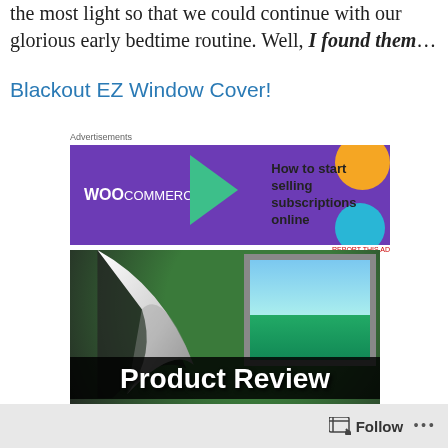the most light so that we could continue with our glorious early bedtime routine. Well, I found them…
Blackout EZ Window Cover!
[Figure (screenshot): WooCommerce advertisement banner: purple background with WooCommerce logo and text 'How to start selling subscriptions online', with teal triangle, orange circle, and blue circle decorative shapes]
[Figure (photo): Product review image showing a window cover peeling back like a page to reveal a sunny outdoor view, with 'Product Review' text overlay and www.coolestfamilyontheblock.com watermark]
Follow •••